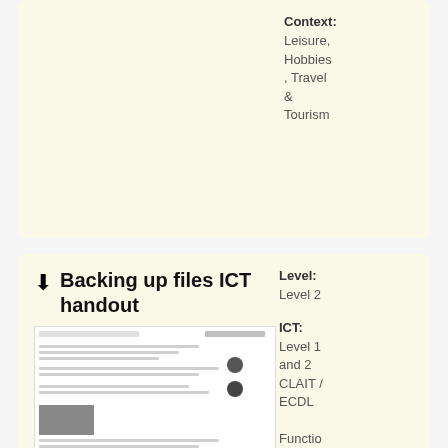Context: Leisure, Hobbies, Travel & Tourism
Backing up files ICT handout
[Figure (screenshot): Thumbnail preview of the ICT handout document showing text and images]
Level: Level 2
ICT: Level 1 and 2 CLAIT / ECDL Functional Skills ICT: Using ICT
Useful handout that clearly explains the principles of backing up files. Includes information on hardware, software and how to back up data.